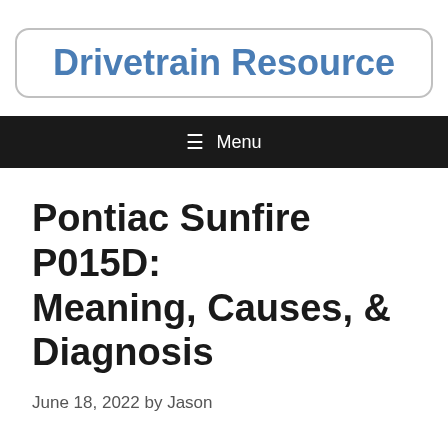Drivetrain Resource
[Figure (other): Navigation bar with hamburger menu icon and Menu text]
Pontiac Sunfire P015D: Meaning, Causes, & Diagnosis
June 18, 2022 by Jason